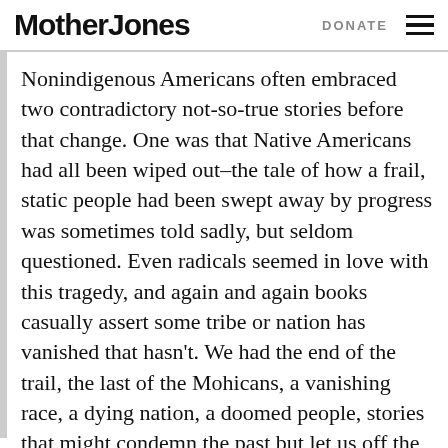Mother Jones | DONATE
Nonindigenous Americans often embraced two contradictory not-so-true stories before that change. One was that Native Americans had all been wiped out–the tale of how a frail, static people had been swept away by progress was sometimes told sadly, but seldom questioned. Even radicals seemed in love with this tragedy, and again and again books casually assert some tribe or nation has vanished that hasn't. We had the end of the trail, the last of the Mohicans, a vanishing race, a dying nation, a doomed people, stories that might condemn the past but let us off the hook for unfinished conflicts. In the other key